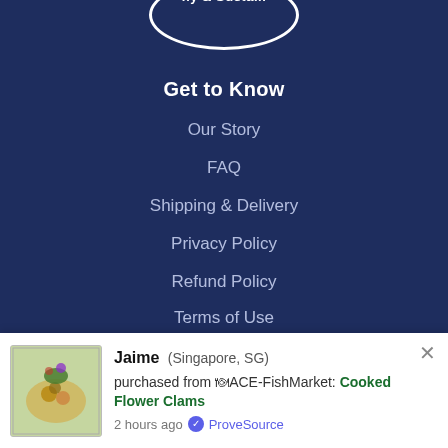[Figure (logo): Partial oval logo with white border and white text '...hy & Susta...' on dark navy background, cropped at top]
Get to Know
Our Story
FAQ
Shipping & Delivery
Privacy Policy
Refund Policy
Terms of Use
Join Us
Get Started
Shop
Jaime (Singapore, SG) purchased from 🍽ACE-FishMarket: Cooked Flower Clams 2 hours ago ✅ ProveSource